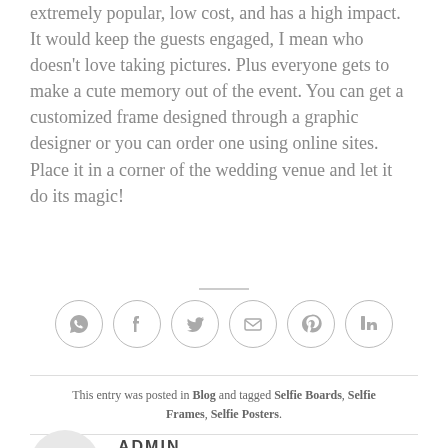extremely popular, low cost, and has a high impact. It would keep the guests engaged, I mean who doesn't love taking pictures. Plus everyone gets to make a cute memory out of the event. You can get a customized frame designed through a graphic designer or you can order one using online sites. Place it in a corner of the wedding venue and let it do its magic!
[Figure (other): Row of 6 social sharing icon circles: WhatsApp, Facebook, Twitter, Email, Pinterest, LinkedIn]
This entry was posted in Blog and tagged Selfie Boards, Selfie Frames, Selfie Posters.
ADMIN